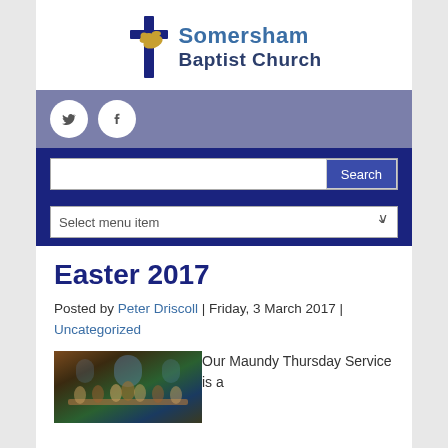[Figure (logo): Somersham Baptist Church logo with cross and dove icon]
[Figure (infographic): Social media icons bar: Twitter and Facebook circles on purple background, with search bar and 'Select menu item' dropdown below on dark blue background]
Easter 2017
Posted by Peter Driscoll | Friday, 3 March 2017 | Uncategorized
[Figure (photo): The Last Supper painting thumbnail]
Our Maundy Thursday Service is a